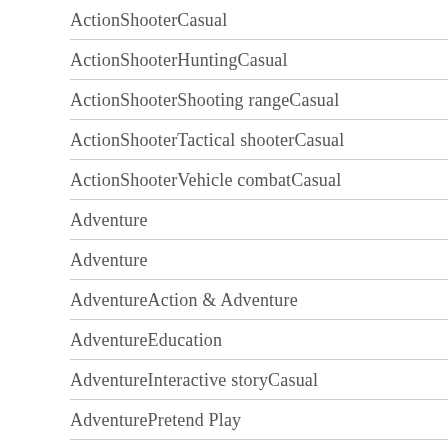ActionShooterCasual
ActionShooterHuntingCasual
ActionShooterShooting rangeCasual
ActionShooterTactical shooterCasual
ActionShooterVehicle combatCasual
Adventure
Adventure
AdventureAction & Adventure
AdventureEducation
AdventureInteractive storyCasual
AdventurePretend Play
AdventurePuzzle adventure